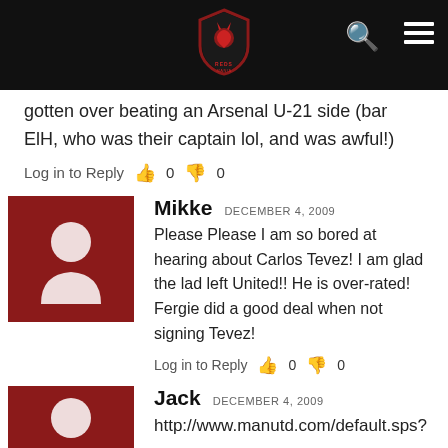Navigation bar with logo, search, and menu icons
gotten over beating an Arsenal U-21 side (bar ElH, who was their captain lol, and was awful!)
Log in to Reply  👍 0  👎 0
Mikke  DECEMBER 4, 2009
Please Please I am so bored at hearing about Carlos Tevez! I am glad the lad left United!! He is over-rated! Fergie did a good deal when not signing Tevez!
Log in to Reply  👍 0  👎 0
Jack  DECEMBER 4, 2009
http://www.manutd.com/default.sps?